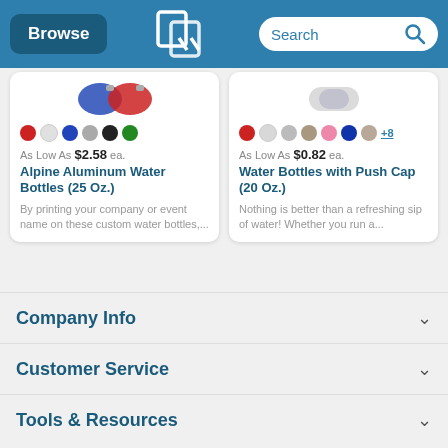Browse | QLP Logo | Search
[Figure (screenshot): Product card: Alpine Aluminum Water Bottles (25 Oz.) - color swatches (red, white, blue, gray, black, green), As Low As $2.58 ea., with description 'By printing your company or event name on these custom water bottles,...']
[Figure (screenshot): Product card: Water Bottles with Push Cap (20 Oz.) - color swatches (red, light gray, gray, tan, pink, navy, taupe, +8 more), As Low As $0.82 ea., with description 'Nothing is better than a refreshing sip of water! Whether you run a...']
Company Info
Customer Service
Tools & Resources